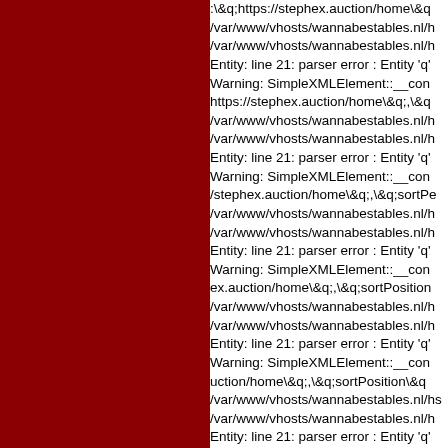:\&q;https://stephex.auction/home\&q /var/www/vhosts/wannabestables.nl/h /var/www/vhosts/wannabestables.nl/h Entity: line 21: parser error : Entity 'q' Warning: SimpleXMLElement::__con https://stephex.auction/home\&q;,\&q /var/www/vhosts/wannabestables.nl/h /var/www/vhosts/wannabestables.nl/h Entity: line 21: parser error : Entity 'q' Warning: SimpleXMLElement::__con /stephex.auction/home\&q;,\&q;sortPe /var/www/vhosts/wannabestables.nl/h /var/www/vhosts/wannabestables.nl/h Entity: line 21: parser error : Entity 'q' Warning: SimpleXMLElement::__con ex.auction/home\&q;,\&q;sortPosition /var/www/vhosts/wannabestables.nl/h /var/www/vhosts/wannabestables.nl/h Entity: line 21: parser error : Entity 'q' Warning: SimpleXMLElement::__con uction/home\&q;,\&q;sortPosition\&q /var/www/vhosts/wannabestables.nl/hs /var/www/vhosts/wannabestables.nl/h Entity: line 21: parser error : Entity 'q Warning: SimpleXMLElement:: con